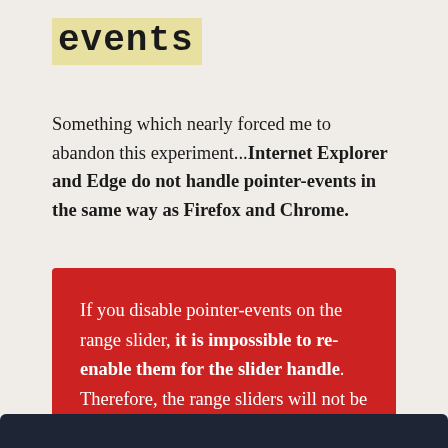events
Something which nearly forced me to abandon this experiment...Internet Explorer and Edge do not handle pointer-events in the same way as Firefox and Chrome.
If you disable pointer-events on the range slider, it is impossible to re-enable them for the slider handle. Therefore, the range sliders will not be clickable 😕